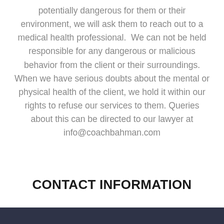potentially dangerous for them or their environment, we will ask them to reach out to a medical health professional.  We can not be held responsible for any dangerous or malicious behavior from the client or their surroundings. When we have serious doubts about the mental or physical health of the client, we hold it within our rights to refuse our services to them. Queries about this can be directed to our lawyer at info@coachbahman.com
CONTACT INFORMATION